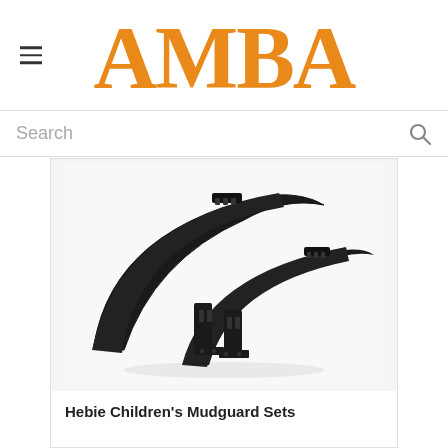AMBA
Search
[Figure (photo): Black bicycle mudguard set (fenders) with mounting brackets on white background]
Hebie Children's Mudguard Sets